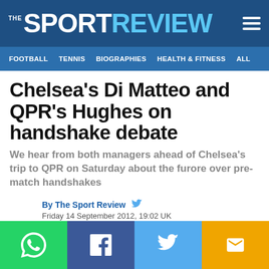THE SPORT REVIEW
FOOTBALL  TENNIS  BIOGRAPHIES  HEALTH & FITNESS  ALL
Chelsea's Di Matteo and QPR's Hughes on handshake debate
We hear from both managers ahead of Chelsea's trip to QPR on Saturday about the furore over pre-match handshakes
By The Sport Review
Friday 14 September 2012, 19:02 UK
[Figure (infographic): Social sharing buttons row: WhatsApp (green), Facebook (dark blue), Twitter (light blue), Email (yellow/gold)]